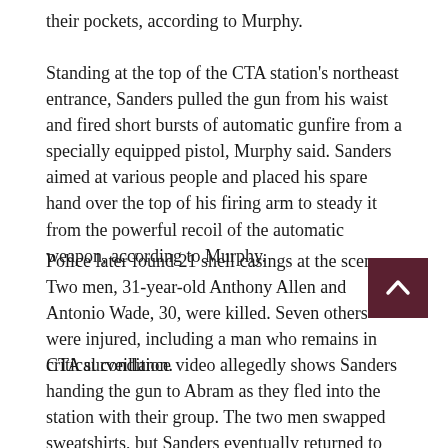their pockets, according to Murphy.
Standing at the top of the CTA station's northeast entrance, Sanders pulled the gun from his waist and fired short bursts of automatic gunfire from a specially equipped pistol, Murphy said. Sanders aimed at various people and placed his spare hand over the top of his firing arm to steady it from the powerful recoil of the automatic weapon, according to Murphy.
Police later found 21 shell casings at the scene. Two men, 31-year-old Anthony Allen and Antonio Wade, 30, were killed. Seven others were injured, including a man who remains in critical condition.
CTA surveillance video allegedly shows Sanders handing the gun to Abram as they fled into the station with their group. The two men swapped sweatshirts, but Sanders eventually returned to his original hoodie because Abram's was too small, Murphy said.